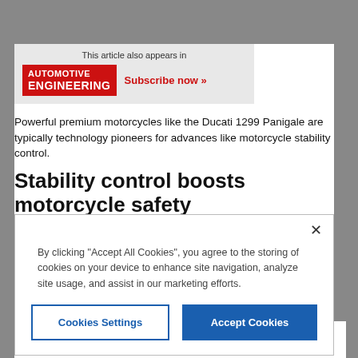[Figure (logo): Automotive Engineering magazine logo with red background and 'Subscribe now »' link beside it, inside a gray subscription box with 'This article also appears in' text above]
Powerful premium motorcycles like the Ducati 1299 Panigale are typically technology pioneers for advances like motorcycle stability control.
Stability control boosts motorcycle safety
By clicking "Accept All Cookies", you agree to the storing of cookies on your device to enhance site navigation, analyze site usage, and assist in our marketing efforts.
reduction in crashes it provides, motorcycles are a category of vehicles that can benefit even more than four-wheeled